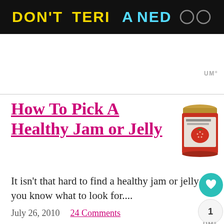[Figure (screenshot): Dark banner with stylized text 'DON'T TERI A NED' in yellow and cyan on black background]
[Figure (photo): A jar of jam/jelly with red strawberry label]
How To Pick A Healthy Jam or Jelly
It isn't that hard to find a healthy jam or jelly you know what to look for....
July 26, 2010  24 Comments
[Figure (other): Blue rectangular banner/advertisement block]